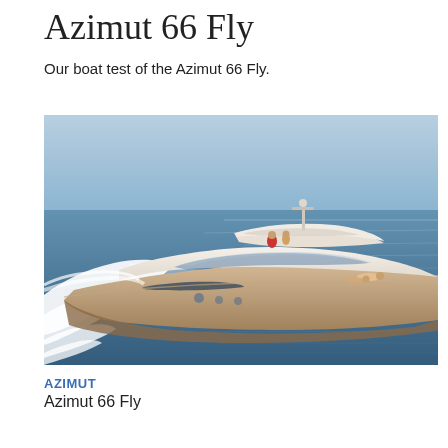Azimut 66 Fly
Our boat test of the Azimut 66 Fly.
[Figure (photo): Aerial/side view of the Azimut 66 Fly luxury motor yacht cruising at speed on blue water, with white wake visible. Two people visible on the flybridge, others sunbathing on the bow deck.]
AZIMUT
Azimut 66 Fly